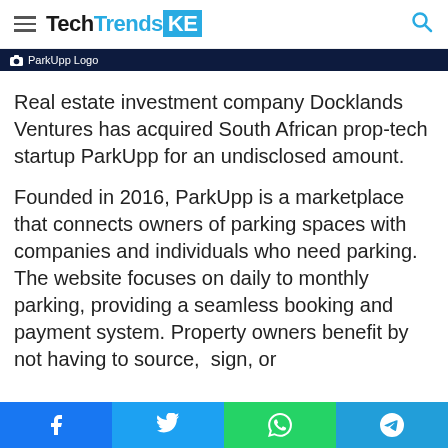TechTrendsKE
ParkUpp Logo
Real estate investment company Docklands Ventures has acquired South African prop-tech startup ParkUpp for an undisclosed amount.
Founded in 2016, ParkUpp is a marketplace that connects owners of parking spaces with companies and individuals who need parking. The website focuses on daily to monthly parking, providing a seamless booking and payment system. Property owners benefit by not having to source, sign, or